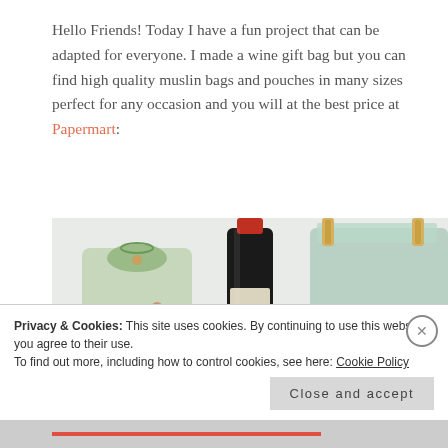Hello Friends! Today I have a fun project that can be adapted for everyone. I made a wine gift bag but you can find high quality muslin bags and pouches in many sizes perfect for any occasion and you will at the best price at Papermart:
[Figure (photo): Photo of wine gift bags: a small decorated muslin bag with floral pattern on the left, a wine bottle in the center, and a larger decorated muslin bag with poppy flowers and script text on the right, with wooden clothespins.]
Privacy & Cookies: This site uses cookies. By continuing to use this website, you agree to their use.
To find out more, including how to control cookies, see here: Cookie Policy
Close and accept